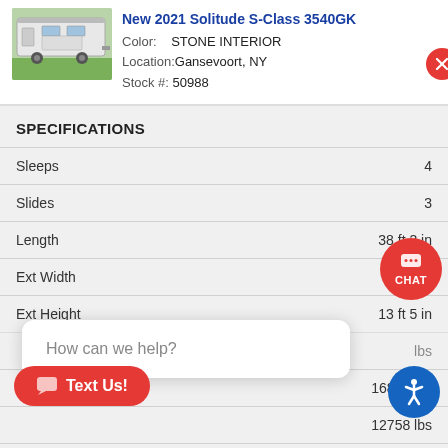[Figure (photo): Photo of a white fifth-wheel RV trailer parked on grass]
New 2021 Solitude S-Class 3540GK
Color: STONE INTERIOR
Location: Gansevoort, NY
Stock #: 50988
SPECIFICATIONS
| Specification | Value |
| --- | --- |
| Sleeps | 4 |
| Slides | 3 |
| Length | 38 ft 3 in |
| Ext Width | 8 ft 5 in |
| Ext Height | 13 ft 5 in |
| Gross Weight | 16800 lbs |
|  | 12758 lbs |
| Capacity | 91 gals |
| Gray Water Capacity | 100 gals |
How can we help?
Text Us!